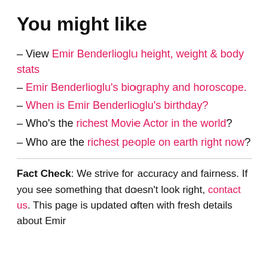You might like
– View Emir Benderlioglu height, weight & body stats
– Emir Benderlioglu's biography and horoscope.
– When is Emir Benderlioglu's birthday?
– Who's the richest Movie Actor in the world?
– Who are the richest people on earth right now?
Fact Check: We strive for accuracy and fairness. If you see something that doesn't look right, contact us. This page is updated often with fresh details about Emir